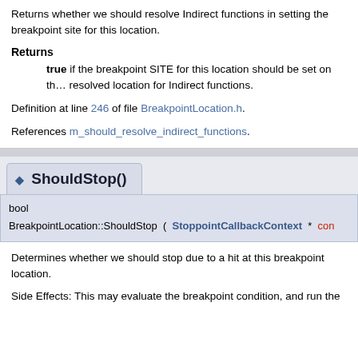Returns whether we should resolve Indirect functions in setting the breakpoint site for this location.
Returns
true if the breakpoint SITE for this location should be set on the resolved location for Indirect functions.
Definition at line 246 of file BreakpointLocation.h.
References m_should_resolve_indirect_functions.
ShouldStop()
bool BreakpointLocation::ShouldStop ( StoppointCallbackContext * con
Determines whether we should stop due to a hit at this breakpoint location.
Side Effects: This may evaluate the breakpoint condition, and run the